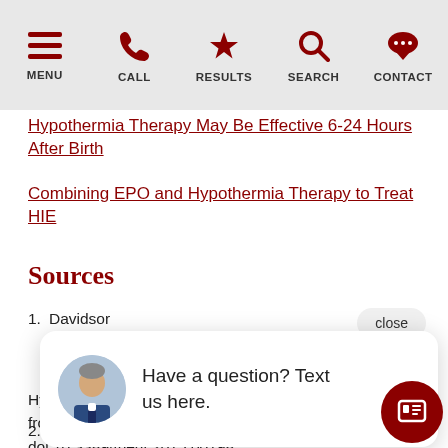MENU | CALL | RESULTS | SEARCH | CONTACT
Hypothermia Therapy May Be Effective 6-24 Hours After Birth
Combining EPO and Hypothermia Therapy to Treat HIE
Sources
1. Davidson G., Benn... Therapeutic... Hypoxic-Ischemic Encephalopathy – Where to from Here?. Frontiers in neurology, 6, 1... doi:10.3389/fneur.2015.00198
2. Shankaran, Seetha, et al. Whole-Body
[Figure (screenshot): Chat popup with avatar photo of a man in a suit, text: Have a question? Text us here. With a close button and a red floating action button with a tablet icon.]